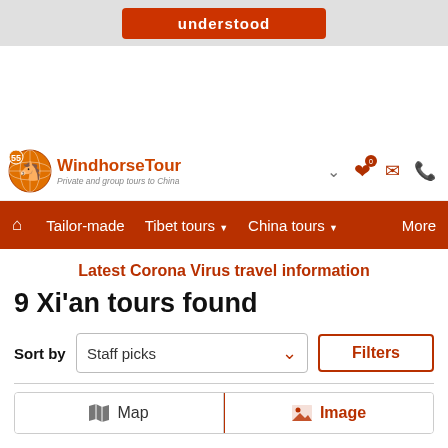understood
[Figure (logo): WindhorseTour logo with circular globe icon, text 'WindhorseTour' and subtitle 'Private and group tours to China']
Tailor-made  Tibet tours  China tours  More
Latest Corona Virus travel information
9 Xi'an tours found
Sort by  Staff picks  Filters
Map  Image